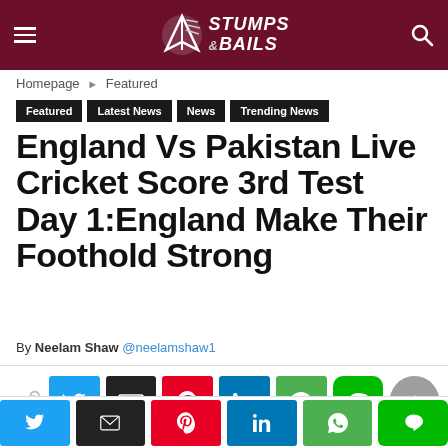[Figure (logo): Stumps & Bails website header logo with navigation hamburger menu and search icon on dark maroon background]
Homepage › Featured
Featured
Latest News
News
Trending News
England Vs Pakistan Live Cricket Score 3rd Test Day 1:England Make Their Foothold Strong
By Neelam Shaw @neelamshaw1
[Figure (infographic): Social sharing buttons row: share icon, Twitter (blue), Email (black), Pinterest (red), LinkedIn (blue), WhatsApp (green), LINE (green), scroll-to-top (grey circle)]
[Figure (infographic): Bottom sticky social sharing bar: Twitter, Email, Pinterest, LinkedIn, WhatsApp, LINE buttons]